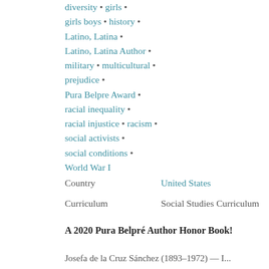diversity • girls • girls boys • history • Latino, Latina • Latino, Latina Author • military • multicultural • prejudice • Pura Belpre Award • racial inequality • racial injustice • racism • social activists • social conditions • World War I
Country   United States
Curriculum   Social Studies Curriculum
A 2020 Pura Belpré Author Honor Book!
Josefa de la Cruz Sánchez (1893–1972) — I...